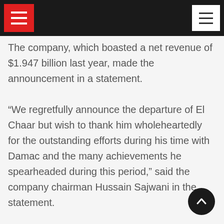Navigation header with hamburger menus
The company, which boasted a net revenue of $1.947 billion last year, made the announcement in a statement.
“We regretfully announce the departure of El Chaar but wish to thank him wholeheartedly for the outstanding efforts during his time with Damac and the many achievements he spearheaded during this period,” said the company chairman Hussain Sajwani in the statement.
“Damac confirms that Ziad El Chaar has left the company. After a 12-year tenure, during which he spearheaded many initiatives that directly contributed to the company’s success, both regionally and internationally, El Chaar has decided to explore new career opportunities. We wish him success in all his future endeavors,” the company confirms to online